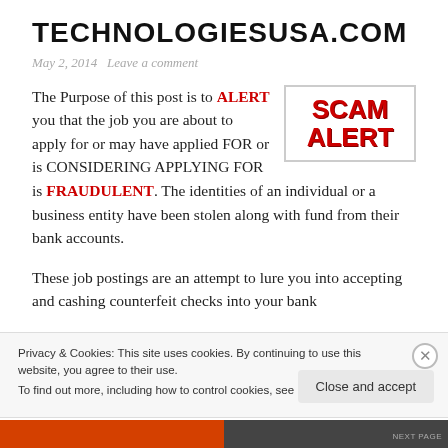TECHNOLOGIESUSA.COM
May 2, 2014   Leave a comment
The Purpose of this post is to ALERT you that the job you are about to apply for or may have applied FOR or is CONSIDERING APPLYING FOR is FRAUDULENT. The identities of an individual or a business entity have been stolen along with fund from their bank accounts.
[Figure (other): SCAM ALERT badge with red bold text on white background with border]
These job postings are an attempt to lure you into accepting and cashing counterfeit checks into your bank
Privacy & Cookies: This site uses cookies. By continuing to use this website, you agree to their use.
To find out more, including how to control cookies, see here: Cookie Policy
Close and accept